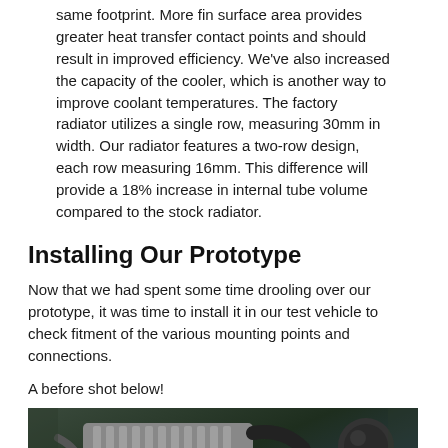same footprint. More fin surface area provides greater heat transfer contact points and should result in improved efficiency. We've also increased the capacity of the cooler, which is another way to improve coolant temperatures. The factory radiator utilizes a single row, measuring 30mm in width. Our radiator features a two-row design, each row measuring 16mm. This difference will provide a 18% increase in internal tube volume compared to the stock radiator.
Installing Our Prototype
Now that we had spent some time drooling over our prototype, it was time to install it in our test vehicle to check fitment of the various mounting points and connections.
A before shot below!
[Figure (photo): Engine bay photo showing a BMW engine with intake manifold cover, aftermarket cold air intake with red/pink air filter, and various engine components visible from above.]